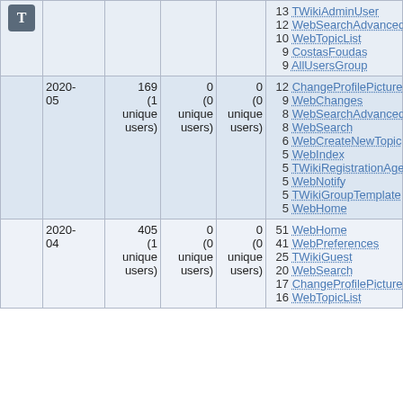|  | Date | Views | Saves | Uploads | Top pages |
| --- | --- | --- | --- | --- | --- |
| T-icon |  |  |  |  | 13 TWikiAdminUser
12 WebSearchAdvanced
10 WebTopicList
9 CostasFoudas
9 AllUsersGroup |
|  | 2020-05 | 169 (1 unique users) | 0 (0 unique users) | 0 (0 unique users) | 12 ChangeProfilePicture
9 WebChanges
8 WebSearchAdvanced
8 WebSearch
6 WebCreateNewTopic
5 WebIndex
5 TWikiRegistrationAgent
5 WebNotify
5 TWikiGroupTemplate
5 WebHome |
|  | 2020-04 | 405 (1 unique users) | 0 (0 unique users) | 0 (0 unique users) | 51 WebHome
41 WebPreferences
25 TWikiGuest
20 WebSearch
17 ChangeProfilePicture
16 WebTopicList |